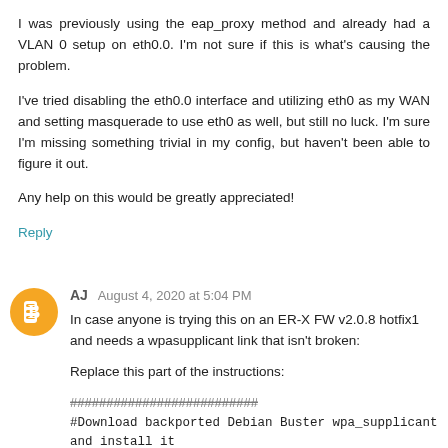I was previously using the eap_proxy method and already had a VLAN 0 setup on eth0.0. I'm not sure if this is what's causing the problem.
I've tried disabling the eth0.0 interface and utilizing eth0 as my WAN and setting masquerade to use eth0 as well, but still no luck. I'm sure I'm missing something trivial in my config, but haven't been able to figure it out.
Any help on this would be greatly appreciated!
Reply
AJ  August 4, 2020 at 5:04 PM
In case anyone is trying this on an ER-X FW v2.0.8 hotfix1 and needs a wpasupplicant link that isn't broken:
Replace this part of the instructions:
##########################
#Download backported Debian Buster wpa_supplicant and install it